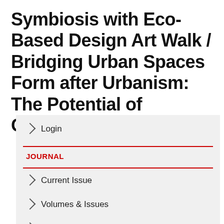Symbiosis with Eco-Based Design Art Walk / Bridging Urban Spaces Form after Urbanism: The Potential of Grossform
Login
JOURNAL
Current Issue
Volumes & Issues
Past Themed Calls